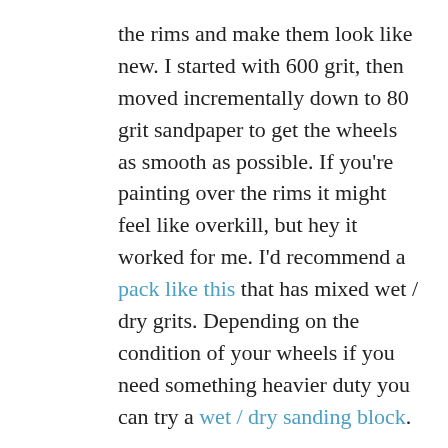the rims and make them look like new. I started with 600 grit, then moved incrementally down to 80 grit sandpaper to get the wheels as smooth as possible. If you're painting over the rims it might feel like overkill, but hey it worked for me. I'd recommend a pack like this that has mixed wet / dry grits. Depending on the condition of your wheels if you need something heavier duty you can try a wet / dry sanding block.
Step 3: Tape Wheels
Once the wheels are clean and dry from the sanding phase, now comes the fun (I mean tedious) part: taping! This step is about...